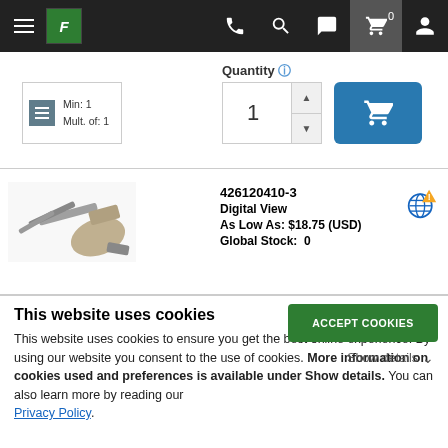Navigation bar with hamburger menu, logo, phone, search, chat, cart (0), and user icons
Quantity
Min: 1
Mult. of: 1
426120410-3
Digital View
As Low As: $18.75 (USD)
Global Stock:  0
This website uses cookies
This website uses cookies to ensure you get the best online experience. By using our website you consent to the use of cookies. More information on cookies used and preferences is available under Show details. You can also learn more by reading our Privacy Policy.
ACCEPT COOKIES
Show details